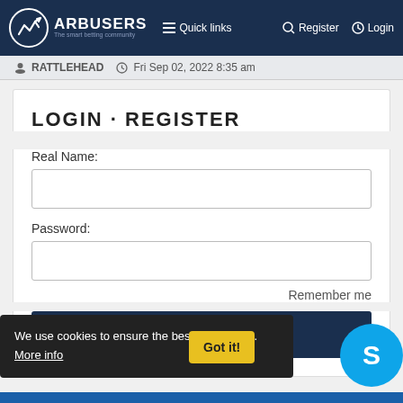ARBUSERS · Quick links · Register · Login
RATTLEHEAD  Fri Sep 02, 2022 8:35 am
LOGIN · REGISTER
Real Name:
Password:
Remember me
Login
We use cookies to ensure the best experience.  More info
Got it!